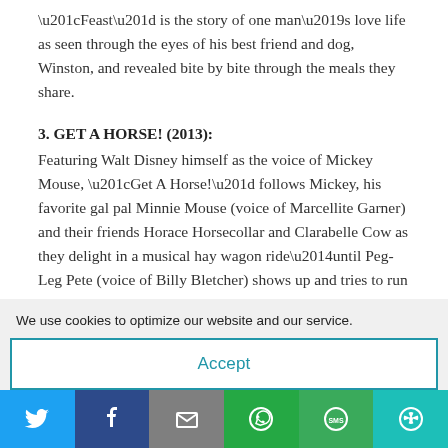“Feast” is the story of one man’s love life as seen through the eyes of his best friend and dog, Winston, and revealed bite by bite through the meals they share.
3. GET A HORSE! (2013):
Featuring Walt Disney himself as the voice of Mickey Mouse, “Get A Horse!” follows Mickey, his favorite gal pal Minnie Mouse (voice of Marcellite Garner) and their friends Horace Horsecollar and Clarabelle Cow as they delight in a musical hay wagon ride—until Peg-Leg Pete (voice of Billy Bletcher) shows up and tries to run them
We use cookies to optimize our website and our service.
Accept
[Figure (infographic): Social sharing bar with icons for Twitter, Facebook, Email, WhatsApp, SMS, and More]